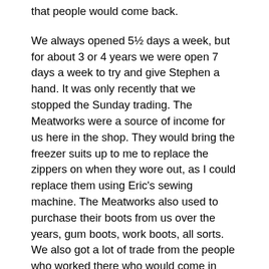that people would come back.
We always opened 5½ days a week, but for about 3 or 4 years we were open 7 days a week to try and give Stephen a hand. It was only recently that we stopped the Sunday trading. The Meatworks were a source of income for us here in the shop. They would bring the freezer suits up to me to replace the zippers on when they wore out, as I could replace them using Eric's sewing machine. The Meatworks also used to purchase their boots from us over the years, gum boots, work boots, all sorts. We also got a lot of trade from the people who worked there who would come in and buy things before they caught the train.
While Eric has looked after the boot repairs I have always done the hand painting of the shoes and my hands show the effects of the use of the strong stripping chemicals.